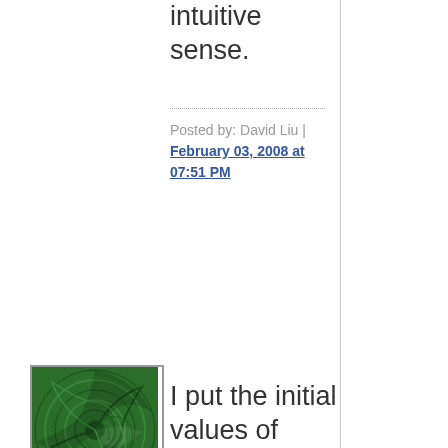intuitive sense.
Posted by: David Liu | February 03, 2008 at 07:51 PM
[Figure (illustration): Green spiral fractal avatar image]
I put the initial values of s=10%, delta=4 n=2%, g=1%. I put a shock on the